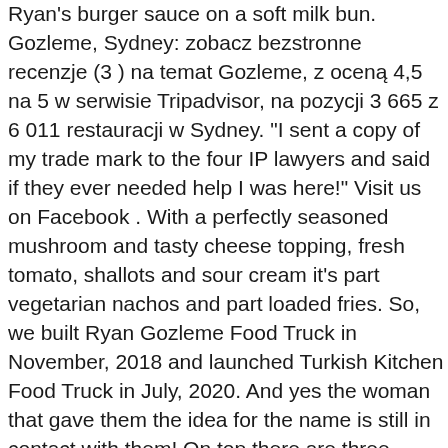Ryan's burger sauce on a soft milk bun. Gozleme, Sydney: zobacz bezstronne recenzje (3 ) na temat Gozleme, z oceną 4,5 na 5 w serwisie Tripadvisor, na pozycji 3 665 z 6 011 restauracji w Sydney. "I sent a copy of my trade mark to the four IP lawyers and said if they ever needed help I was here!" Visit us on Facebook . With a perfectly seasoned mushroom and tasty cheese topping, fresh tomato, shallots and sour cream it's part vegetarian nachos and part loaded fries. So, we built Ryan Gozleme Food Truck in November, 2018 and launched Turkish Kitchen Food Truck in July, 2020. And yes the woman that gave them the idea for the name is still in contact with them! On top there are three sauces and slices of pickle. Traditionally it is a village dish which is done over open fire on a sheet. Food Trucks will be at our Kingswood, Bankstown, and Hawkesbury campuses every Monday to Thursday from 11am – 2pm. Head along from 7pm to score free food from participating trucks for the first hour, along with the chance to win drink vouchers and other prizes. Beef gozleme (spinach, cheese and beef) $14. We tried out their food at One Drop Brewery. Par Amandine Brugier | Publié le 29/05/2020 à